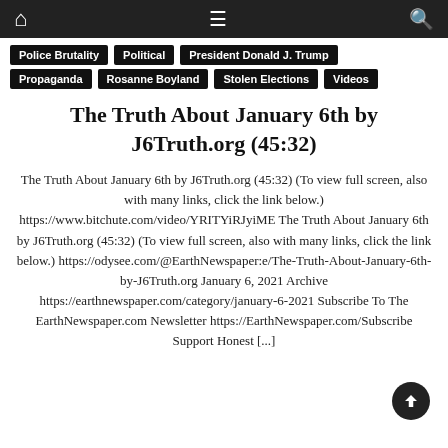Navigation bar with home, menu, and search icons
Police Brutality | Political | President Donald J. Trump
Propaganda | Rosanne Boyland | Stolen Elections | Videos
The Truth About January 6th by J6Truth.org (45:32)
The Truth About January 6th by J6Truth.org (45:32) (To view full screen, also with many links, click the link below.) https://www.bitchute.com/video/YRITYiRJyiME The Truth About January 6th by J6Truth.org (45:32) (To view full screen, also with many links, click the link below.) https://odysee.com/@EarthNewspaper:e/The-Truth-About-January-6th-by-J6Truth.org January 6, 2021 Archive https://earthnewspaper.com/category/january-6-2021 Subscribe To The EarthNewspaper.com Newsletter https://EarthNewspaper.com/Subscribe Support Honest [...]